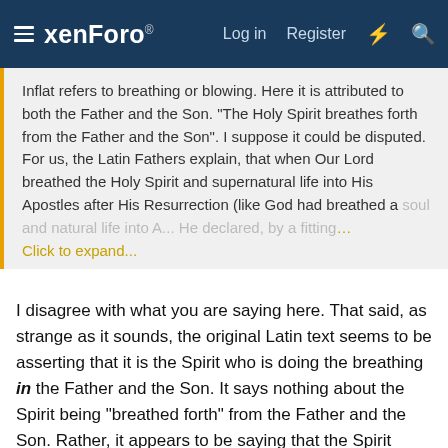xenForo® Log in Register
Inflat refers to breathing or blowing. Here it is attributed to both the Father and the Son. "The Holy Spirit breathes forth from the Father and the Son". I suppose it could be disputed. For us, the Latin Fathers explain, that when Our Lord breathed the Holy Spirit and supernatural life into His Apostles after His Resurrection (like God had breathed a soul and natural life into Adam in Genesis)...He declared, by a fitting... Click to expand...
I disagree with what you are saying here. That said, as strange as it sounds, the original Latin text seems to be asserting that it is the Spirit who is doing the breathing in the Father and the Son. It says nothing about the Spirit being "breathed forth" from the Father and the Son. Rather, it appears to be saying that the Spirit simply breathes in the other two persons, which I suppose may be interpreted as an assertion of consubstantiality, but I do not think anything else can be made of the quotation beyond that simple idea. Thus, the text does not seem to have anything to do with either the existential procession of origin of the Holy Spirit from the Father, nor does it have anything to do with the Spirit's economic progression or manifestation through the Son. To be honest, it does not seem to have much of anything to do